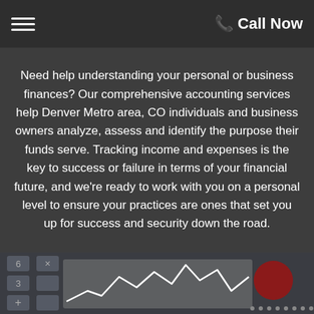☰  📞 Call Now
Need help understanding your personal or business finances? Our comprehensive accounting services help Denver Metro area, CO individuals and business owners analyze, assess and identify the purpose their funds serve. Tracking income and expenses is the key to success or failure in terms of your financial future, and we're ready to work with you on a personal level to ensure your practices are ones that set you up for success and security down the road.
[Figure (photo): Calculator keys and a financial chart with a red circle marker in the background, dark toned photo]